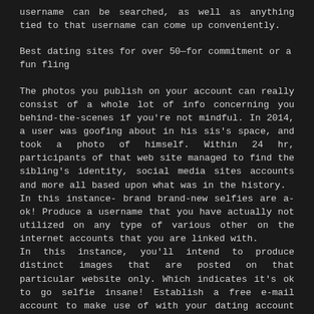username can be searched, as well as anything tied to that username can come up conveniently.
Best dating sites for over 50—for commitment or a fun fling
The photos you publish on your account can really consist of a whole lot of info concerning you behind-the-scenes if you're not mindful. In 2014, a user was goofing about in his sis's space, and took a photo of himself. Within 24 hr, participants of that web site managed to find the sibling's identity, social media sites accounts and more all based upon what was in the history.
In this instance- brand brand-new selfies are a-ok! Produce a username that you have actually not utilized on any type of various other on the internet accounts that you are linked with.
In this instance, you'll intend to produce distinct images that are posted on that particular website only. Which indicates it's ok to go selfie insane! Establish a free e-mail account to make use of with your dating account that has no connection to your identity. Make sure that it'll